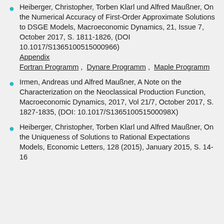Heiberger, Christopher, Torben Klarl und Alfred Maußner, On the Numerical Accuracy of First-Order Approximate Solutions to DSGE Models, Macroeconomic Dynamics, 21, Issue 7, October 2017, S. 1811-1826, (DOI 10.1017/S1365100515000966) Appendix Fortran Programm , Dynare Programm , Maple Programm
Irmen, Andreas und Alfred Maußner, A Note on the Characterization on the Neoclassical Production Function, Macroeconomic Dynamics, 2017, Vol 21/7, October 2017, S. 1827-1835, (DOI: 10.1017/S136510051500098X)
Heiberger, Christopher, Torben Klarl und Alfred Maußner, On the Uniqueness of Solutions to Rational Expectations Models, Economic Letters, 128 (2015), January 2015, S. 14-16